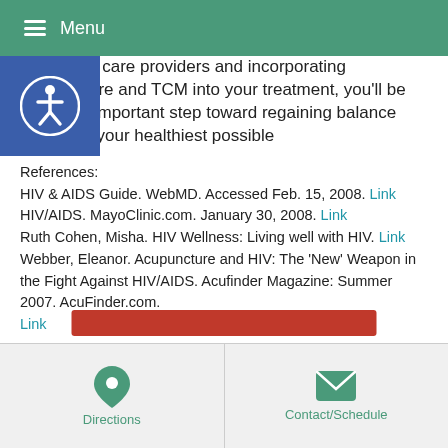Menu
of medical care providers and incorporating acupuncture and TCM into your treatment, you'll be taking an important step toward regaining balance and living your healthiest possible
References:
HIV & AIDS Guide. WebMD. Accessed Feb. 15, 2008. Link
HIV/AIDS. MayoClinic.com. January 30, 2008. Link
Ruth Cohen, Misha. HIV Wellness: Living well with HIV. Link
Webber, Eleanor. Acupuncture and HIV: The 'New' Weapon in the Fight Against HIV/AIDS. Acufinder Magazine: Summer 2007. AcuFinder.com. Link
This article was posted in . Bookmark the permalink. Follow comments with the RSS feed for this post. Both comments and trackbacks are closed.
Directions | Contact/Schedule